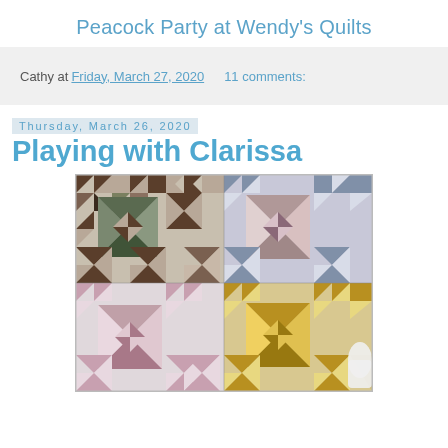Peacock Party at Wendy's Quilts
Cathy at Friday, March 27, 2020   11 comments:
Thursday, March 26, 2020
Playing with Clarissa
[Figure (photo): Photo of four quilt blocks arranged in a 2x2 grid, showing pinwheel and star patterns in various colorways: brown/white, pink/blue, pink/rose, and gold/white, laid flat on a surface]